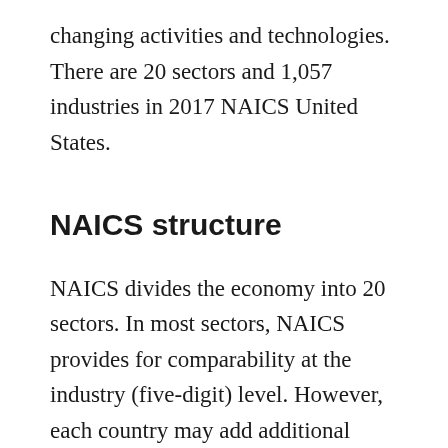changing activities and technologies. There are 20 sectors and 1,057 industries in 2017 NAICS United States.
NAICS structure
NAICS divides the economy into 20 sectors. In most sectors, NAICS provides for comparability at the industry (five-digit) level. However, each country may add additional detailed industries provided that this additional detail aggregates to the NAICS level. The first two digits of the structure designate the NAICS sectors that represent general categories of economic